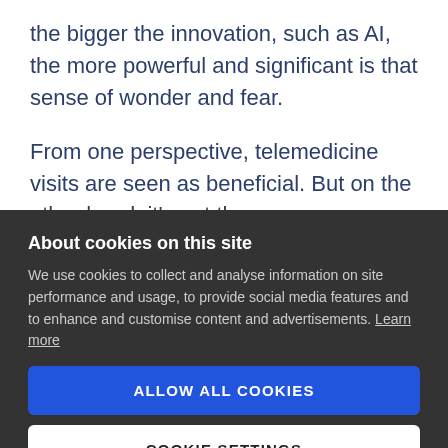the bigger the innovation, such as AI, the more powerful and significant is that sense of wonder and fear.
From one perspective, telemedicine visits are seen as beneficial. But on the other hand, it's not the
About cookies on this site
We use cookies to collect and analyse information on site performance and usage, to provide social media features and to enhance and customise content and advertisements. Learn more
ALLOW ALL COOKIES
COOKIE SETTINGS